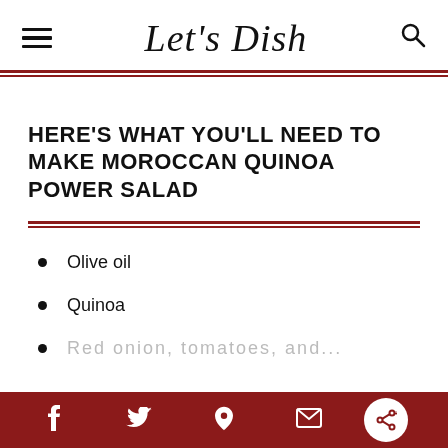Let's Dish
HERE'S WHAT YOU'LL NEED TO MAKE MOROCCAN QUINOA POWER SALAD
Olive oil
Quinoa
Red onion, tomatoes, and...
f  Twitter  Pinterest  Email  Share